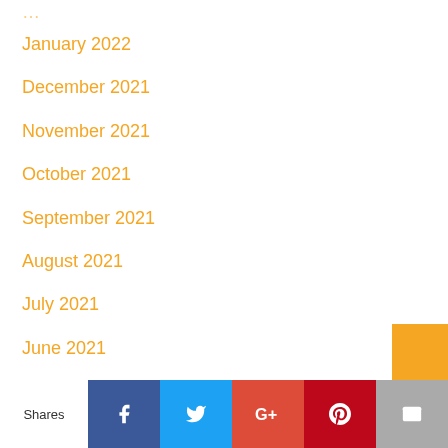January 2022
December 2021
November 2021
October 2021
September 2021
August 2021
July 2021
June 2021
May 2021
April 2021
March 2021
Shares | Facebook | Twitter | G+ | Pinterest | Email